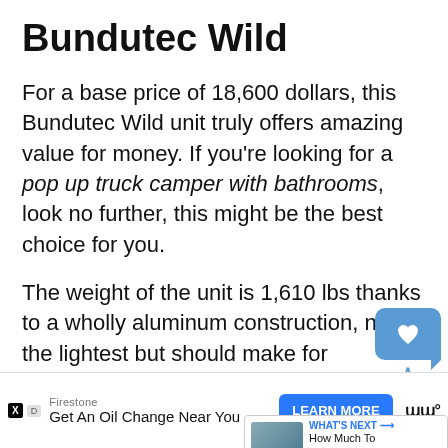Bundutec Wild
For a base price of 18,600 dollars, this Bundutec Wild unit truly offers amazing value for money. If you're looking for a pop up truck camper with bathrooms, look no further, this might be the best choice for you.
The weight of the unit is 1,610 lbs thanks to a wholly aluminum construction, not the lightest but should make for agreeable levels of fuel economy and ease of handling. The unit is aero-dynamic, and it looks aesthetically pleasing overall, with a style...in the
[Figure (screenshot): Social share widget with heart/bookmark bubble and share icon overlay, plus 'What's Next' video thumbnail panel]
[Figure (screenshot): Advertisement bar: Firestone 'Get An Oil Change Near You' with LEARN MORE button and ad attribution icons]